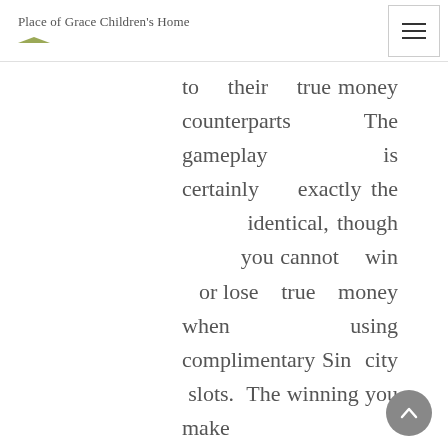Place of Grace Children's Home
to their true money counterparts The gameplay is certainly exactly the identical, though you cannot win or lose true money when using complimentary Sin city slots. The winning you make
[Figure (other): Scroll to top button (chevron up arrow on grey circle background)]